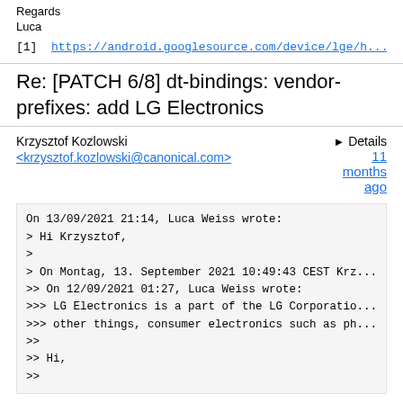Regards
Luca
[1] https://android.googlesource.com/device/lge/h...
Re: [PATCH 6/8] dt-bindings: vendor-prefixes: add LG Electronics
Krzysztof Kozlowski <krzysztof.kozlowski@canonical.com>
▶ Details 11 months ago
On 13/09/2021 21:14, Luca Weiss wrote:
> Hi Krzysztof,
>
> On Montag, 13. September 2021 10:49:43 CEST Krz...
>> On 12/09/2021 01:27, Luca Weiss wrote:
>>> LG Electronics is a part of the LG Corporatio...
>>> other things, consumer electronics such as ph...
>>
>> Hi,
>>